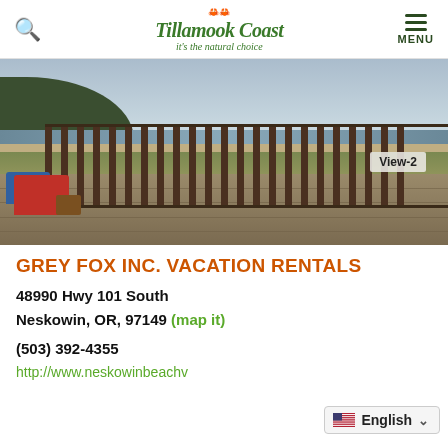Tillamook Coast – it's the natural choice
[Figure (photo): Outdoor deck with colorful Adirondack chairs overlooking a sandy beach, grass dunes, ocean, and a forested headland under a cloudy sky. A label 'View-2' appears in the lower right of the photo.]
GREY FOX INC. VACATION RENTALS
48990 Hwy 101 South
Neskowin, OR, 97149 (map it)
(503) 392-4355
http://www.neskowinbeachv...